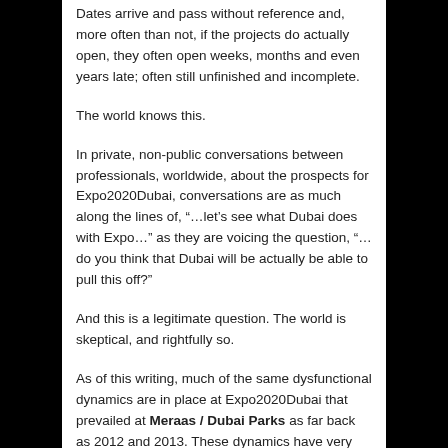Dates arrive and pass without reference and, more often than not, if the projects do actually open, they often open weeks, months and even years late; often still unfinished and incomplete.
The world knows this.
In private, non-public conversations between professionals, worldwide, about the prospects for Expo2020Dubai, conversations are as much along the lines of, “…let’s see what Dubai does with Expo…” as they are voicing the question, “…do you think that Dubai will be actually be able to pull this off?”
And this is a legitimate question. The world is skeptical, and rightfully so.
As of this writing, much of the same dysfunctional dynamics are in place at Expo2020Dubai that prevailed at Meraas / Dubai Parks as far back as 2012 and 2013. These dynamics have very publicly resulted in extremely late openings of projects that are still incomplete when